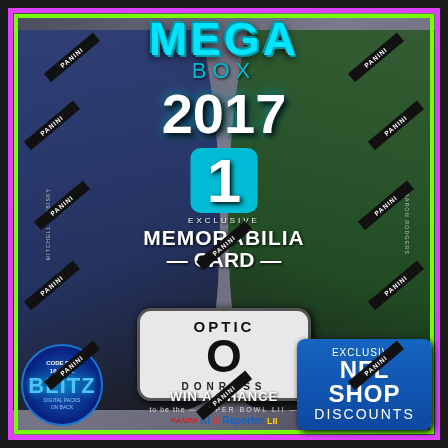[Figure (photo): 2017 Panini Donruss Optic NFL Mega Box trading card box featuring two NFL quarterbacks (a Chicago Bears player #10 on the left and a Green Bay Packers player #12 on the right), with a bright pink/magenta outer border and neon green inner border. The box advertises 1 Exclusive Memorabilia Card, an Optic Donruss logo in the center, a Blitz digital packs code offer in the bottom left, a Win a Chance to be the Panini Kid Reporter Super Bowl LII promotion in the bottom center, and Exclusive NFL Shop Discounts in the bottom right. Multiple Panini diagonal black sticker seals across the box.]